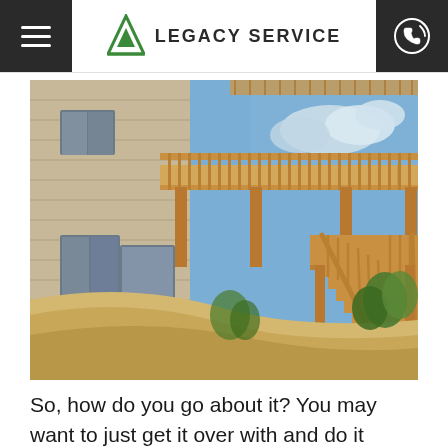LEGACY SERVICE
[Figure (photo): Exterior photo of a house with a large wooden elevated deck with railings and stairs descending down a sandy hill, surrounded by trees under a partly cloudy sky.]
So, how do you go about it? You may want to just get it over with and do it yourself, but sometimes it's better to hire a